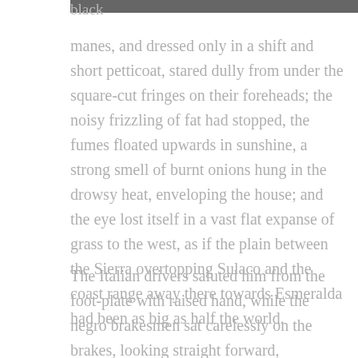[Figure (photo): Partial photograph visible at the top of the page, dark image]
black
manes, and dressed only in a shift and short petticoat, stared dully from under the square-cut fringes on their foreheads; the noisy frizzling of fat had stopped, the fumes floated upwards in sunshine, a strong smell of burnt onions hung in the drowsy heat, enveloping the house; and the eye lost itself in a vast flat expanse of grass to the west, as if the plain between the Sierra overtopping Sulaco and the coast range away there towards Esmeralda had been as big as half the world.
The Italian drivers saluted him from the foot-plate with raised hand, while the negro brakesmen sat carelessly on the brakes, looking straight forward,